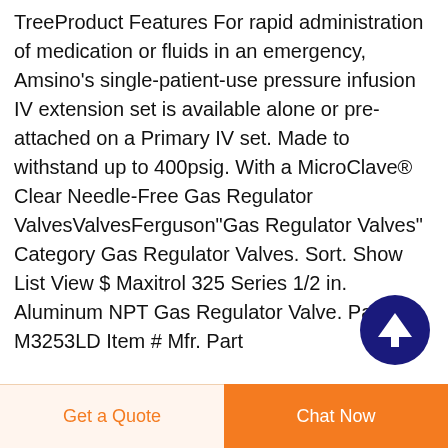TreeProduct Features For rapid administration of medication or fluids in an emergency, Amsino's single-patient-use pressure infusion IV extension set is available alone or pre-attached on a Primary IV set. Made to withstand up to 400psig. With a MicroClave® Clear Needle-Free Gas Regulator ValvesValvesFerguson"Gas Regulator Valves" Category Gas Regulator Valves. Sort. Show List View $ Maxitrol 325 Series 1/2 in. Aluminum NPT Gas Regulator Valve. Part # M3253LD Item # Mfr. Part
[Figure (other): Dark navy blue circular scroll-to-top button with white upward arrow icon]
Get a Quote
Chat Now